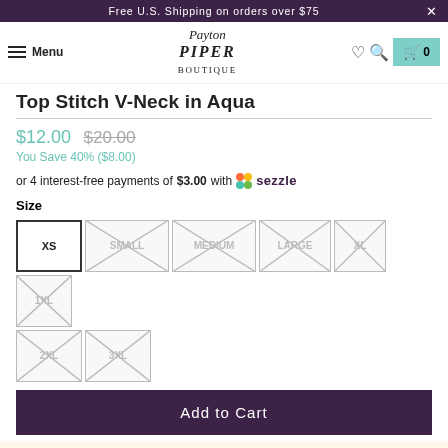Free U.S. Shipping on orders over $75
Menu | Payton Piper Boutique | [heart] [search] [cart] 0
Top Stitch V-Neck in Aqua
$12.00  $20.00
You Save 40% ($8.00)
or 4 interest-free payments of $3.00 with  Sezzle
Size
XS  SMALL  MEDIUM  LARGE  XL  1XL  2XL  3XL
Add to Cart
Buy with amazon pay